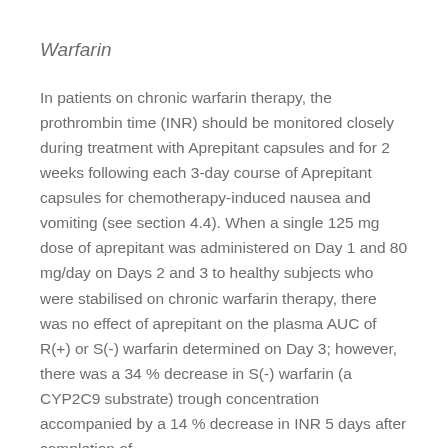Warfarin
In patients on chronic warfarin therapy, the prothrombin time (INR) should be monitored closely during treatment with Aprepitant capsules and for 2 weeks following each 3-day course of Aprepitant capsules for chemotherapy-induced nausea and vomiting (see section 4.4). When a single 125 mg dose of aprepitant was administered on Day 1 and 80 mg/day on Days 2 and 3 to healthy subjects who were stabilised on chronic warfarin therapy, there was no effect of aprepitant on the plasma AUC of R(+) or S(-) warfarin determined on Day 3; however, there was a 34 % decrease in S(-) warfarin (a CYP2C9 substrate) trough concentration accompanied by a 14 % decrease in INR 5 days after completion of